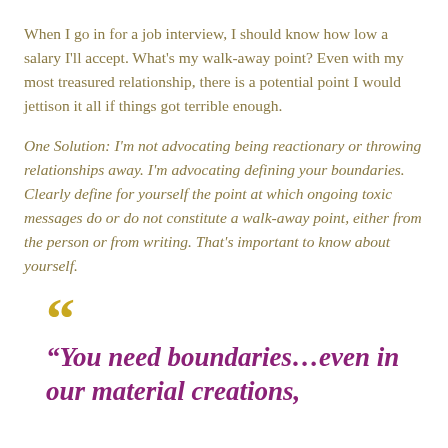When I go in for a job interview, I should know how low a salary I'll accept. What's my walk-away point? Even with my most treasured relationship, there is a potential point I would jettison it all if things got terrible enough.
One Solution: I'm not advocating being reactionary or throwing relationships away. I'm advocating defining your boundaries. Clearly define for yourself the point at which ongoing toxic messages do or do not constitute a walk-away point, either from the person or from writing. That's important to know about yourself.
“You need boundaries…even in our material creations,